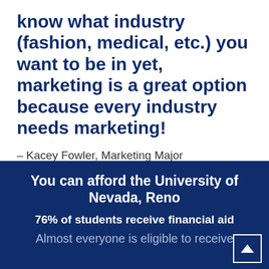know what industry (fashion, medical, etc.) you want to be in yet, marketing is a great option because every industry needs marketing!
– Kacey Fowler, Marketing Major
You can afford the University of Nevada, Reno
76% of students receive financial aid
Almost everyone is eligible to receive